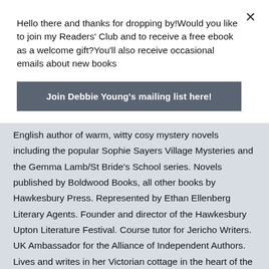Hello there and thanks for dropping by!Would you like to join my Readers' Club and to receive a free ebook as a welcome gift?You'll also receive occasional emails about new books
Join Debbie Young's mailing list here!
English author of warm, witty cosy mystery novels including the popular Sophie Sayers Village Mysteries and the Gemma Lamb/St Bride's School series. Novels published by Boldwood Books, all other books by Hawkesbury Press. Represented by Ethan Ellenberg Literary Agents. Founder and director of the Hawkesbury Upton Literature Festival. Course tutor for Jericho Writers. UK Ambassador for the Alliance of Independent Authors. Lives and writes in her Victorian cottage in the heart of the beautiful